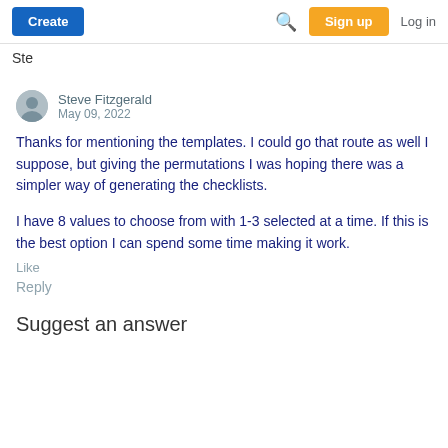Create | Search | Sign up | Log in
Ste
Steve Fitzgerald
May 09, 2022
Thanks for mentioning the templates. I could go that route as well I suppose, but giving the permutations I was hoping there was a simpler way of generating the checklists.
I have 8 values to choose from with 1-3 selected at a time. If this is the best option I can spend some time making it work.
Like
Reply
Suggest an answer